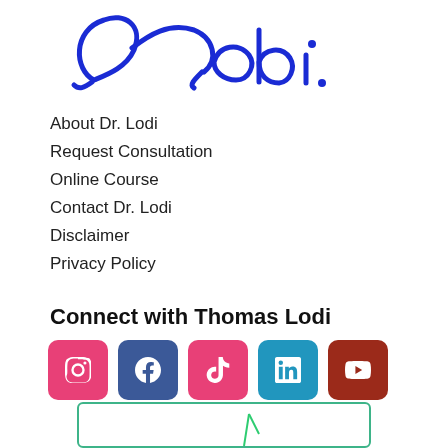[Figure (logo): Dr. Lodi signature logo in blue cursive script]
About Dr. Lodi
Request Consultation
Online Course
Contact Dr. Lodi
Disclaimer
Privacy Policy
Connect with Thomas Lodi
[Figure (infographic): Row of five social media icon buttons: Instagram (pink), Facebook (dark blue), TikTok (pink), LinkedIn (blue), YouTube (dark red)]
[Figure (screenshot): Partial bottom bar with teal/green border, content partially visible]